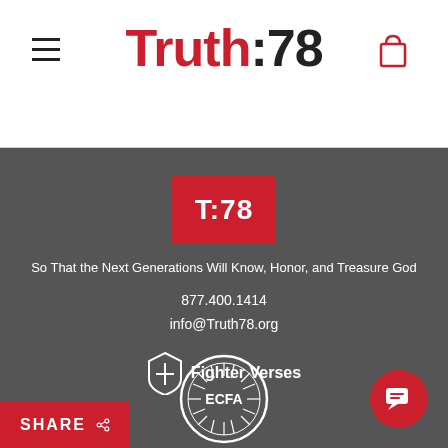Truth:78
[Figure (logo): T:78 red badge logo]
So That the Next Generations Will Know, Honor, and Treasure God
877.400.1414
info@Truth78.org
[Figure (logo): Fighter Verses logo with shield icon]
[Figure (logo): ECFA circular badge logo]
SHARE